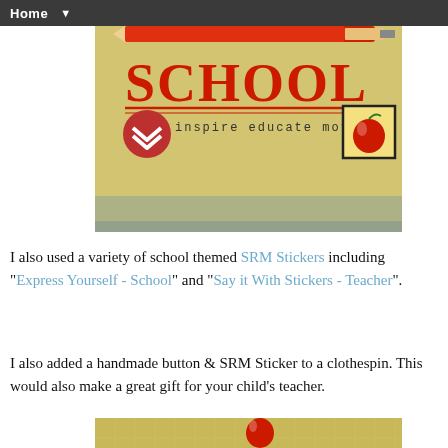Home ▼
[Figure (photo): Photo of a yellow school-themed craft background with the word SCHOOL in large red letters, a pencil, a red chevron button, and an apple sticker. Text reads 'inspire educate motivate'.]
I also used a variety of school themed SRM Stickers including "Express Yourself - School" and "Say it With Stickers - Teacher".
I also added a handmade button & SRM Sticker to a clothespin. This would also make a great gift for your child's teacher.
[Figure (photo): Partial photo of a yellow craft background with a clothespin and SRM sticker visible at the bottom of the page.]